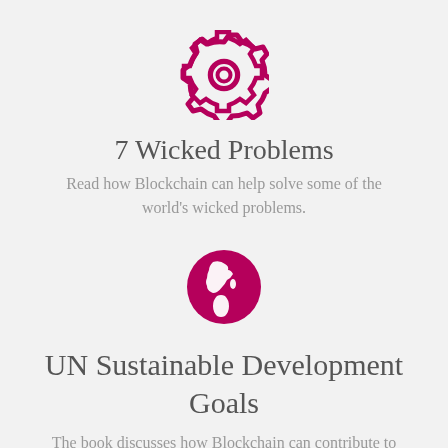[Figure (illustration): Crimson/dark pink gear/cog icon outline]
7 Wicked Problems
Read how Blockchain can help solve some of the world's wicked problems.
[Figure (illustration): Crimson/dark pink filled circle globe icon showing Americas]
UN Sustainable Development Goals
The book discusses how Blockchain can contribute to solving the UN SDGs.